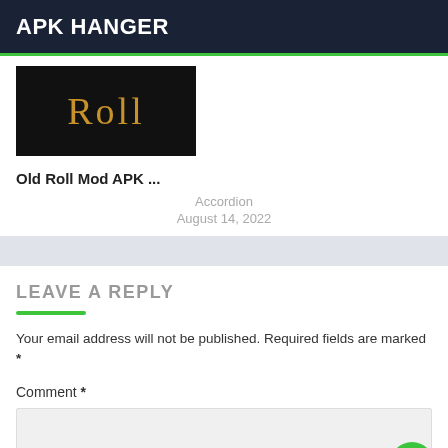APK HANGER
[Figure (screenshot): Black banner image with golden text 'Roll']
Old Roll Mod APK ...
Accordion
August 14, 2022
LEAVE A REPLY
Your email address will not be published. Required fields are marked *
Comment *